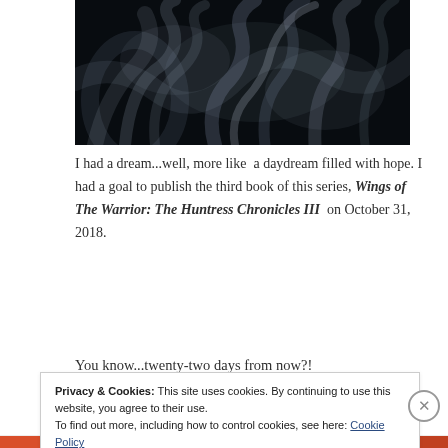[Figure (photo): Dark smoky abstract image with swirling white/blue smoke against a black background]
I had a dream...well, more like a daydream filled with hope. I had a goal to publish the third book of this series, Wings of The Warrior: The Huntress Chronicles III on October 31, 2018.
You know...twenty-two days from now?!
Privacy & Cookies: This site uses cookies. By continuing to use this website, you agree to their use.
To find out more, including how to control cookies, see here: Cookie Policy
Close and accept